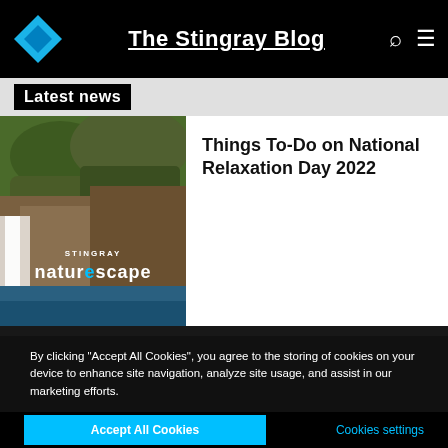The Stingray Blog
Latest news
[Figure (photo): Waterfall and mossy rocks with Stingray Natureescape branding overlay]
Things To-Do on National Relaxation Day 2022
By clicking "Accept All Cookies", you agree to the storing of cookies on your device to enhance site navigation, analyze site usage, and assist in our marketing efforts.
Accept All Cookies
Cookies settings